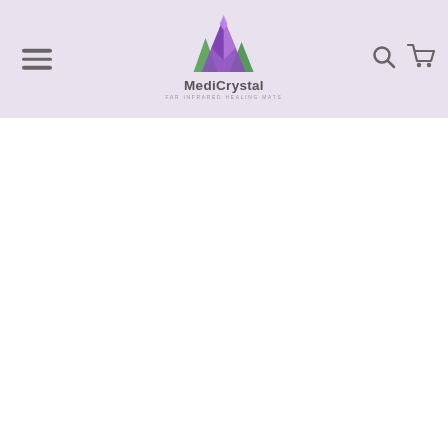[Figure (logo): MediCrystal logo with mountain/crystal shapes in purple and green, with text 'MediCrystal' and tagline 'FAR INFRARED HEALING MATS']
[Figure (other): Website navigation header with hamburger menu icon on left, MediCrystal logo in center, search and cart icons on right, on light purple/lavender background]